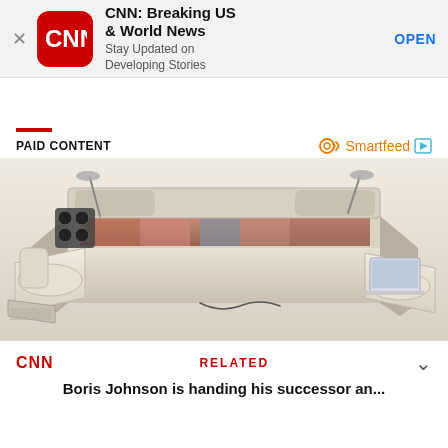[Figure (screenshot): App advertisement banner for CNN Breaking US & World News with CNN logo icon, close button, app name, tagline and OPEN button]
PAID CONTENT
[Figure (logo): Smartfeed logo with circular icon and play icon]
[Figure (photo): Product photo of a high-tech luxury bed/smart bed with speakers, reading lamps, reclining chairs, storage drawers and laptop stand]
CNN   RELATED   Boris Johnson is handing his successor an...